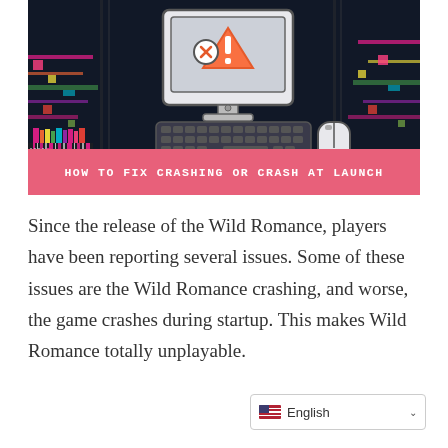[Figure (illustration): A dark glitchy background with a cartoon computer monitor showing an error/warning icon (triangle with exclamation mark and X circle), a keyboard, and a mouse. Below is a pink banner with the text 'HOW TO FIX CRASHING OR CRASH AT LAUNCH'.]
Since the release of the Wild Romance, players have been reporting several issues. Some of these issues are the Wild Romance crashing, and worse, the game crashes during startup. This makes Wild Romance totally unplayable.
[Figure (screenshot): Language selector widget showing English with a US flag icon and a dropdown arrow.]